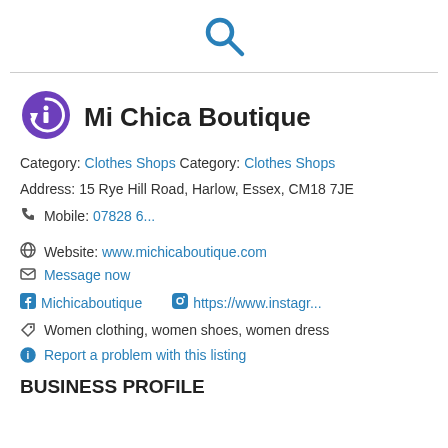[Figure (logo): Search magnifying glass icon in blue at top center]
[Figure (logo): Mi Chica Boutique circular info icon logo in purple]
Mi Chica Boutique
Category: Clothes Shops Category: Clothes Shops
Address: 15 Rye Hill Road, Harlow, Essex, CM18 7JE
Mobile: 07828 6...
Website: www.michicaboutique.com
Message now
Michicaboutique    https://www.instagr...
Women clothing, women shoes, women dress
Report a problem with this listing
BUSINESS PROFILE